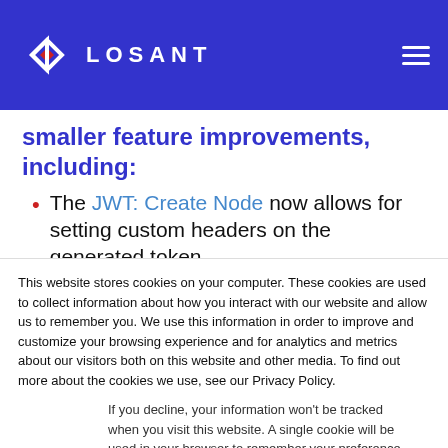LOSANT
smaller feature improvements, including:
The JWT: Create Node now allows for setting custom headers on the generated token.
This website stores cookies on your computer. These cookies are used to collect information about how you interact with our website and allow us to remember you. We use this information in order to improve and customize your browsing experience and for analytics and metrics about our visitors both on this website and other media. To find out more about the cookies we use, see our Privacy Policy.
If you decline, your information won't be tracked when you visit this website. A single cookie will be used in your browser to remember your preference not to be tracked.